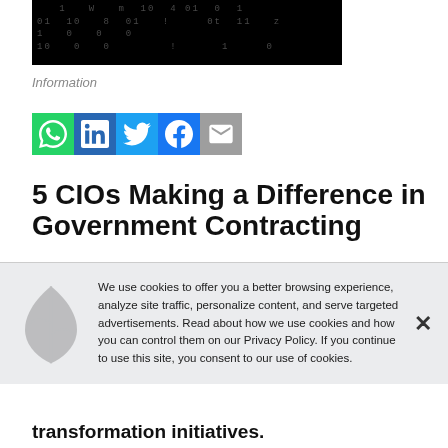[Figure (photo): Dark background with falling binary code (matrix effect) — black background with grey/white digits 0 and 1]
Information
[Figure (infographic): Social sharing bar with icons: WhatsApp (green), LinkedIn (blue), Twitter (light blue), Facebook (blue), Email (grey)]
5 CIOs Making a Difference in Government Contracting
We use cookies to offer you a better browsing experience, analyze site traffic, personalize content, and serve targeted advertisements. Read about how we use cookies and how you can control them on our Privacy Policy. If you continue to use this site, you consent to our use of cookies.
transformation initiatives.